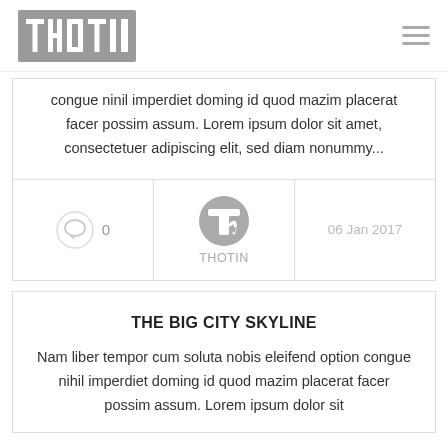THOTIN
congue ninil imperdiet doming id quod mazim placerat facer possim assum. Lorem ipsum dolor sit amet, consectetuer adipiscing elit, sed diam nonummy...
0  THOTIN  06 Jan 2017
THE BIG CITY SKYLINE
Nam liber tempor cum soluta nobis eleifend option congue nihil imperdiet doming id quod mazim placerat facer possim assum. Lorem ipsum dolor sit